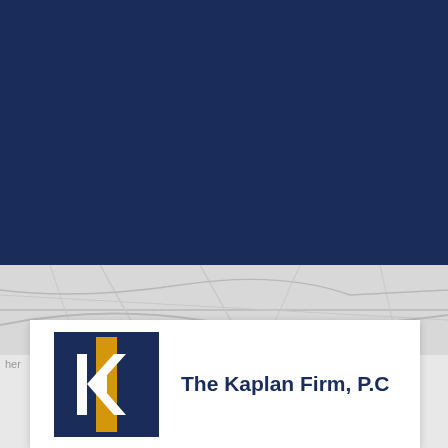[Figure (logo): Navy blue background covering top half of page]
[Figure (map): Light gray map background with faint street/road lines]
[Figure (logo): The Kaplan Firm P.C. logo — navy square border with white K letter on gold background, beside bold text 'The Kaplan Firm, P.C']